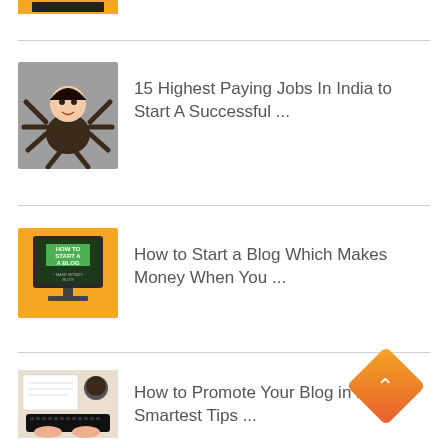[Figure (illustration): Partial thumbnail visible at top of page showing yellow/black graphic]
[Figure (illustration): Cartoon illustration of a person meditating with multiple arms holding various objects, on grey background]
15 Highest Paying Jobs In India to Start A Successful ...
[Figure (illustration): Orange/yellow graphic showing HOW TO START A BLOG monitor illustration]
How to Start a Blog Which Makes Money When You ...
[Figure (photo): Photo of hands typing on keyboard with workspace items]
How to Promote Your Blog in 2022 – Smartest Tips ...